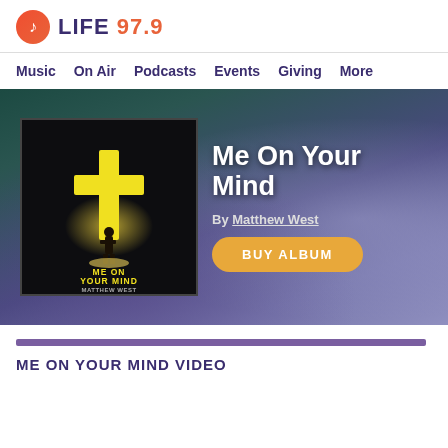LIFE 97.9
Music
On Air
Podcasts
Events
Giving
More
[Figure (illustration): Album cover for 'Me On Your Mind' by Matthew West — dark background with a glowing yellow cross and silhouette of a person standing before it, text 'ME ON YOUR MIND MATTHEW WEST' at bottom in yellow]
Me On Your Mind
By Matthew West
BUY ALBUM
ME ON YOUR MIND VIDEO